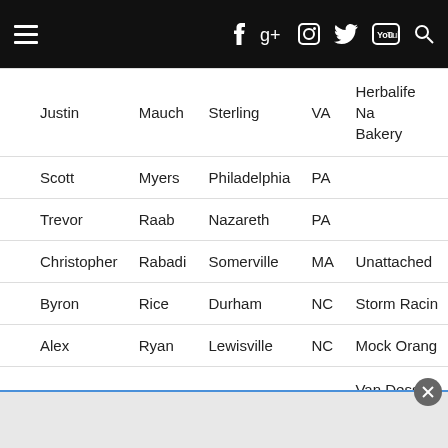Navigation bar with menu and social icons
| First | Last | City | State | Team |
| --- | --- | --- | --- | --- |
| Justin | Mauch | Sterling | VA | Herbalife Na... Bakery |
| Scott | Myers | Philadelphia | PA |  |
| Trevor | Raab | Nazareth | PA |  |
| Christopher | Rabadi | Somerville | MA | Unattached |
| Byron | Rice | Durham | NC | Storm Racin... |
| Alex | Ryan | Lewisville | NC | Mock Orang... |
| George | Schulz | Alexandria | VA | Van Dessel R... Team |